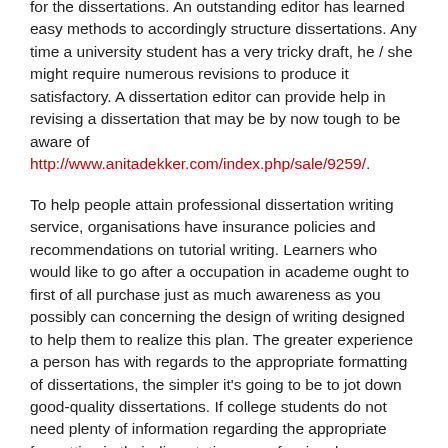for the dissertations. An outstanding editor has learned easy methods to accordingly structure dissertations. Any time a university student has a very tricky draft, he / she might require numerous revisions to produce it satisfactory. A dissertation editor can provide help in revising a dissertation that may be by now tough to be aware of http://www.anitadekker.com/index.php/sale/9259/.
To help people attain professional dissertation writing service, organisations have insurance policies and recommendations on tutorial writing. Learners who would like to go after a occupation in academe ought to first of all purchase just as much awareness as you possibly can concerning the design of writing designed to help them to realize this plan. The greater experience a person has with regards to the appropriate formatting of dissertations, the simpler it's going to be to jot down good-quality dissertations. If college students do not need plenty of information regarding the appropriate formatting in their dissertation, a professional dissertation writing service might be able to help. These services have professional editors who will help college students develop into well-informed concerning the formatting of dissertations in order that they could have got a reliable tutorial vocation.